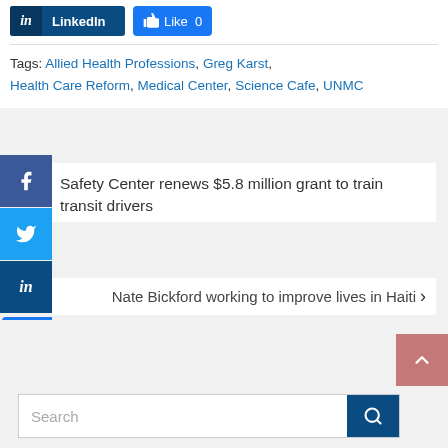[Figure (screenshot): LinkedIn share button and Facebook Like button at top]
Tags: Allied Health Professions, Greg Karst, Health Care Reform, Medical Center, Science Cafe, UNMC
[Figure (screenshot): Facebook, Twitter, LinkedIn share buttons and Like button on left sidebar]
Safety Center renews $5.8 million grant to train transit drivers
Nate Bickford working to improve lives in Haiti >
[Figure (screenshot): Search box with search button and scroll-to-top button]